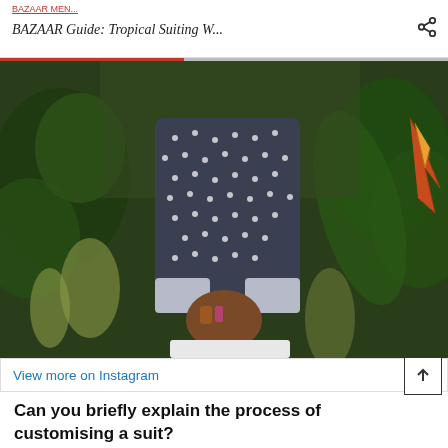BAZAAR Guide: Tropical Suiting W...
[Figure (photo): Person standing with back turned, wearing a dark polka-dot shirt and white trousers, with tropical green plants and foliage in the background. Person's hands are clasped behind their back with bracelets visible.]
View more on Instagram
Can you briefly explain the process of customising a suit?